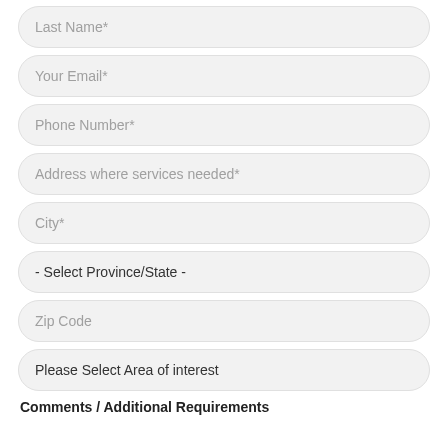Last Name*
Your Email*
Phone Number*
Address where services needed*
City*
- Select Province/State -
Zip Code
Please Select Area of interest
Comments / Additional Requirements